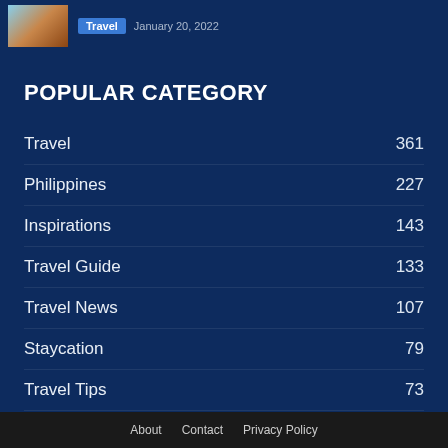[Figure (photo): Small thumbnail photo of ancient ruins/architecture with sky]
Travel  January 20, 2022
POPULAR CATEGORY
Travel  361
Philippines  227
Inspirations  143
Travel Guide  133
Travel News  107
Staycation  79
Travel Tips  73
Summer  54
Post  48
About   Contact   Privacy Policy